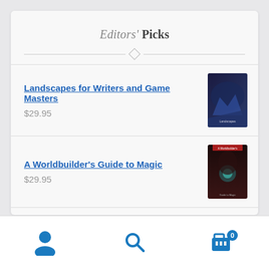Editors' Picks
Landscapes for Writers and Game Masters
$29.95
A Worldbuilder's Guide to Magic
$29.95
Being Dragonborn
$29.95